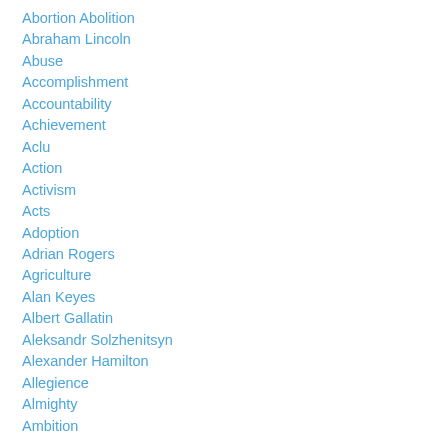Abortion Abolition
Abraham Lincoln
Abuse
Accomplishment
Accountability
Achievement
Aclu
Action
Activism
Acts
Adoption
Adrian Rogers
Agriculture
Alan Keyes
Albert Gallatin
Aleksandr Solzhenitsyn
Alexander Hamilton
Allegience
Almighty
Ambition